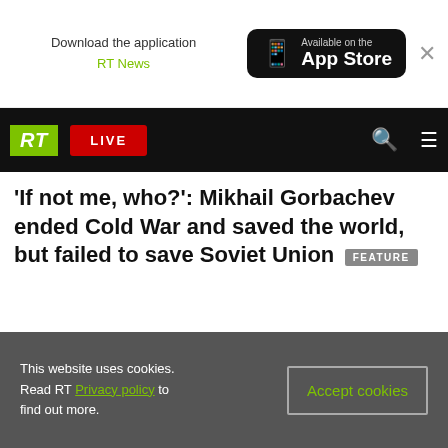Download the application RT News — Available on the App Store
RT LIVE
'If not me, who?': Mikhail Gorbachev ended Cold War and saved the world, but failed to save Soviet Union FEATURE
This website uses cookies. Read RT Privacy policy to find out more. Accept cookies